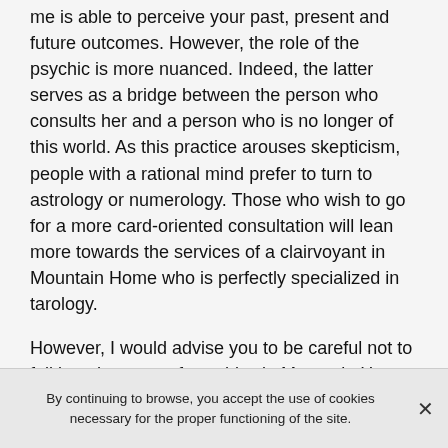me is able to perceive your past, present and future outcomes. However, the role of the psychic is more nuanced. Indeed, the latter serves as a bridge between the person who consults her and a person who is no longer of this world. As this practice arouses skepticism, people with a rational mind prefer to turn to astrology or numerology. Those who wish to go for a more card-oriented consultation will lean more towards the services of a clairvoyant in Mountain Home who is perfectly specialized in tarology.
However, I would advise you to be careful not to fall into the ways of psychics in Mountain Home who resort to ambiguous beliefs such as magic and the like. The followers of this force of consultation answer more to the appellation of charlatan than of clairvoyants.
By continuing to browse, you accept the use of cookies necessary for the proper functioning of the site.